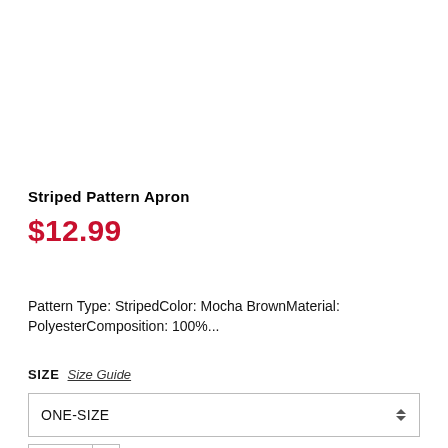Striped Pattern Apron
$12.99
Pattern Type: StripedColor: Mocha BrownMaterial: PolyesterComposition: 100%...
SIZE  Size Guide
ONE-SIZE